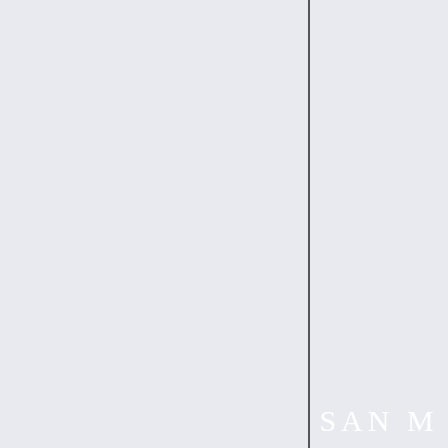[Figure (illustration): Book cover fragment showing a yellow sign/panel with bold black and brown italic text partially cropped: 'La Ig...', 'Ba...', 'juntam...', 'Marcos...' on yellow background with green border. Below is a dark/black background section with white text 'SAN M...' partially visible.]